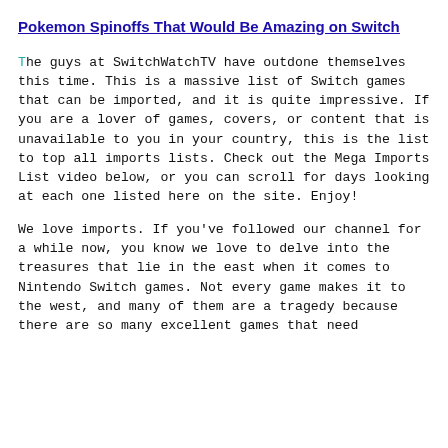Pokemon Spinoffs That Would Be Amazing on Switch
The guys at SwitchWatchTV have outdone themselves this time. This is a massive list of Switch games that can be imported, and it is quite impressive. If you are a lover of games, covers, or content that is unavailable to you in your country, this is the list to top all imports lists. Check out the Mega Imports List video below, or you can scroll for days looking at each one listed here on the site. Enjoy!
We love imports. If you've followed our channel for a while now, you know we love to delve into the treasures that lie in the east when it comes to Nintendo Switch games. Not every game makes it to the west, and many of them are a tragedy because there are so many excellent games that need to be shared from one country to the next.